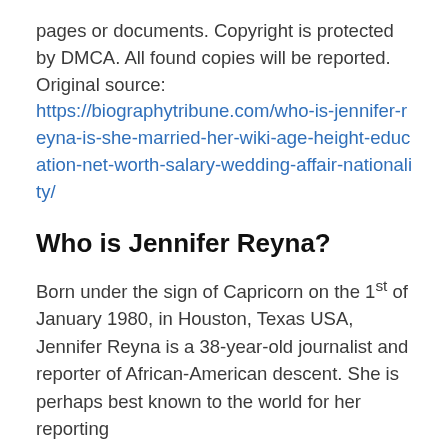pages or documents. Copyright is protected by DMCA. All found copies will be reported. Original source: https://biographytribune.com/who-is-jennifer-reyna-is-she-married-her-wiki-age-height-education-net-worth-salary-wedding-affair-nationality/
Who is Jennifer Reyna?
Born under the sign of Capricorn on the 1st of January 1980, in Houston, Texas USA, Jennifer Reyna is a 38-year-old journalist and reporter of African-American descent. She is perhaps best known to the world for her reporting...